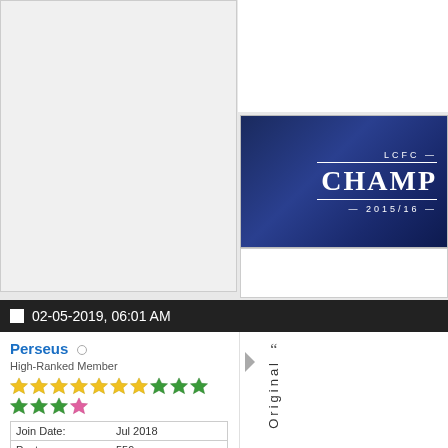evidence
...
[Figure (photo): LCFC Champions 2015/16 banner image with dark blue background and team photo]
02-05-2019, 06:01 AM
Perseus
High-Ranked Member
| Join Date: | Jul 2018 |
| Posts: | 559 |